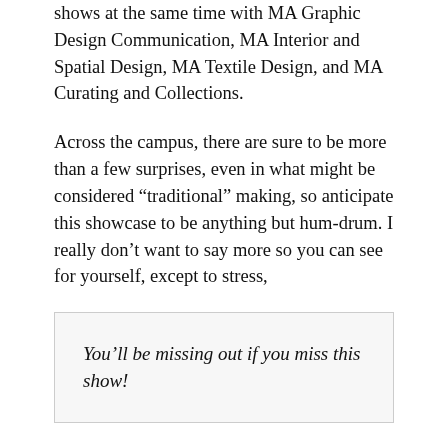shows at the same time with MA Graphic Design Communication, MA Interior and Spatial Design, MA Textile Design, and MA Curating and Collections.
Across the campus, there are sure to be more than a few surprises, even in what might be considered “traditional” making, so anticipate this showcase to be anything but hum-drum. I really don’t want to say more so you can see for yourself, except to stress,
You’ll be missing out if you miss this show!
More links and information